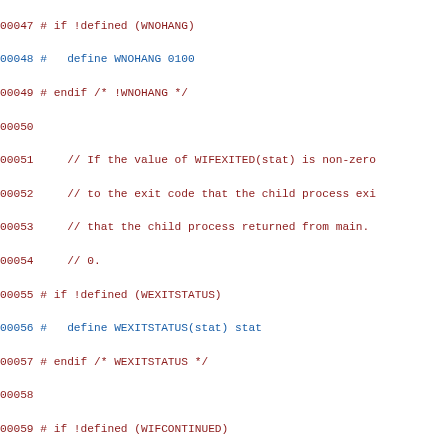[Figure (screenshot): Source code listing showing C preprocessor macros and comments for POSIX wait status macros (WNOHANG, WEXITSTATUS, WIFCONTINUED, WIFEXITED, WIFSIGNALED), with line numbers 00047-00076. Line numbers for macro definitions are shown in blue, other lines in dark red/maroon.]